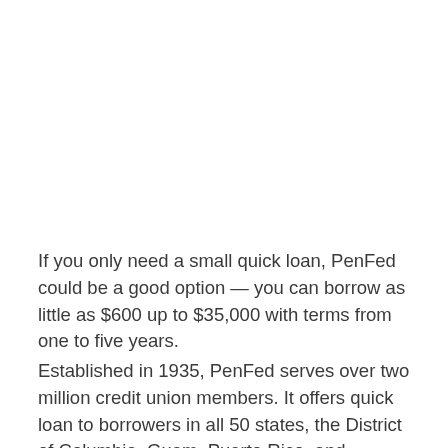If you only need a small quick loan, PenFed could be a good option — you can borrow as little as $600 up to $35,000 with terms from one to five years.
Established in 1935, PenFed serves over two million credit union members. It offers quick loan to borrowers in all 50 states, the District of Columbia, Guam, Puerto Rico, and Okinawa.